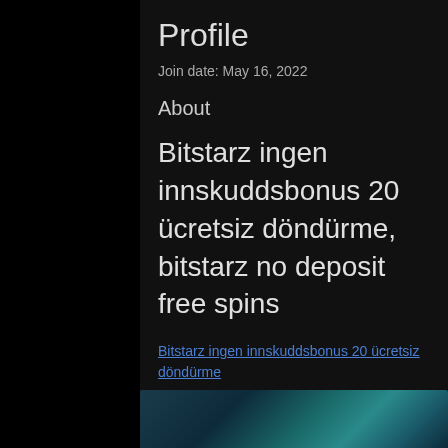Profile
Join date: May 16, 2022
About
Bitstarz ingen innskuddsbonus 20 ücretsiz döndürme, bitstarz no deposit free spins
Bitstarz ingen innskuddsbonus 20 ücretsiz döndürme
[Figure (photo): Blurred colorful image, partially visible at bottom of page]